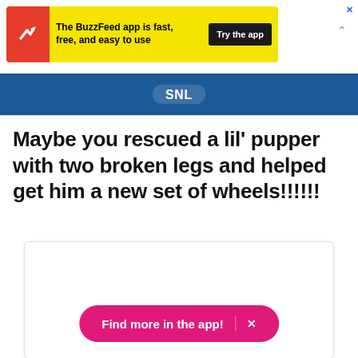[Figure (screenshot): BuzzFeed app advertisement banner with yellow background, red circle icon with white arrow, text 'The BuzzFeed app is fast, free, and easy to use', black 'Try the app' button, and blue X close button]
[Figure (screenshot): Blue navigation bar with partially visible white logo]
Maybe you rescued a lil' pupper with two broken legs and helped get him a new set of wheels!!!!!!
[Figure (screenshot): White content card area with a pink 'Find more in the app!' call-to-action button with X dismiss icon]